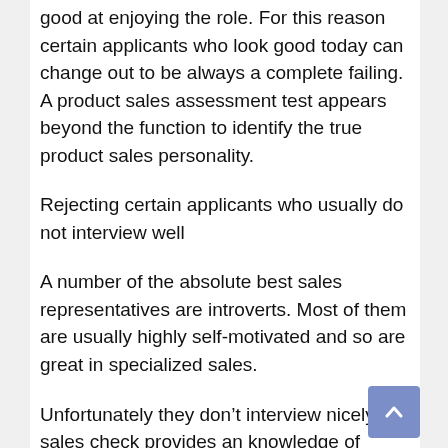good at enjoying the role. For this reason certain applicants who look good today can change out to be always a complete failing. A product sales assessment test appears beyond the function to identify the true product sales personality.
Rejecting certain applicants who usually do not interview well
A number of the absolute best sales representatives are introverts. Most of them are usually highly self-motivated and so are great in specialized sales.
Unfortunately they don’t interview nicely. A sales check provides an knowledge of these applicants so youll know very well what they